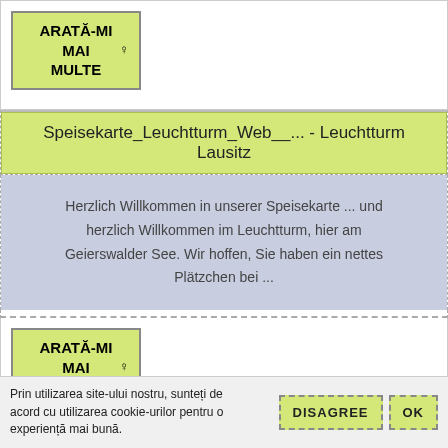ARATĂ-MI MAI MULTE
Speisekarte_Leuchtturm_Web__... - Leuchtturm Lausitz
Herzlich Willkommen in unserer Speisekarte ... und herzlich Willkommen im Leuchtturm, hier am Geierswalder See. Wir hoffen, Sie haben ein nettes Plätzchen bei ...
ARATĂ-MI MAI MULTE
Prin utilizarea site-ului nostru, sunteți de acord cu utilizarea cookie-urilor pentru o experiență mai bună.
DISAGREE
OK